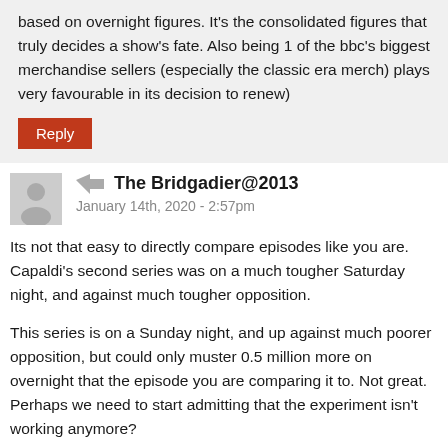based on overnight figures. It's the consolidated figures that truly decides a show's fate. Also being 1 of the bbc's biggest merchandise sellers (especially the classic era merch) plays very favourable in its decision to renew)
Reply
The Bridgadier@2013
January 14th, 2020 - 2:57pm
Its not that easy to directly compare episodes like you are. Capaldi's second series was on a much tougher Saturday night, and against much tougher opposition.
This series is on a Sunday night, and up against much poorer opposition, but could only muster 0.5 million more on overnight that the episode you are comparing it to. Not great. Perhaps we need to start admitting that the experiment isn't working anymore?
The big jump in viewers when series 11 started was likely due to interest in seeing what female Doctor would be like. It was vital that the series maintained this. It simply hasn't done so. I've tried and tried again to give it a chance, however, I just cant get beyond the